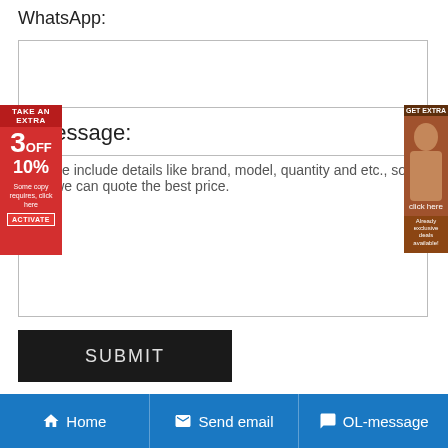WhatsApp:
Message:
Please include details like brand, model, quantity and etc., so that we can quote the best price.
SUBMIT
| Model | Title | Price |
| --- | --- | --- |
| 23976-K-MB | FAG 23976-K-MB AH3976G-H Bearing - Genuine Bearing | Email To Buy |
Home | Send email | OL-message